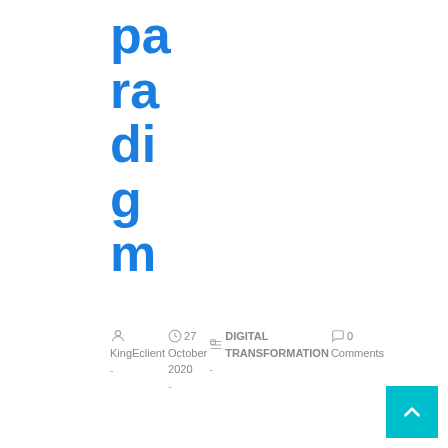paradigm
KingEclient  -   27 October 2020 -   DIGITAL TRANSFORMATION -   0 Comments
We are living in one of the most remarkable moments in human history. However, are we